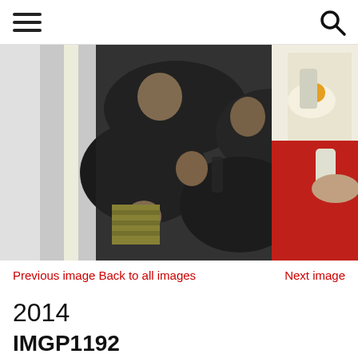Navigation header with hamburger menu and search icon
[Figure (photo): Group of people gathered around a table with food and drinks, photo taken at an angle (rotated), indoor setting with fluorescent lighting, casual social gathering scene from 2014]
Previous imageBack to all images    Next image
2014
IMGP1192